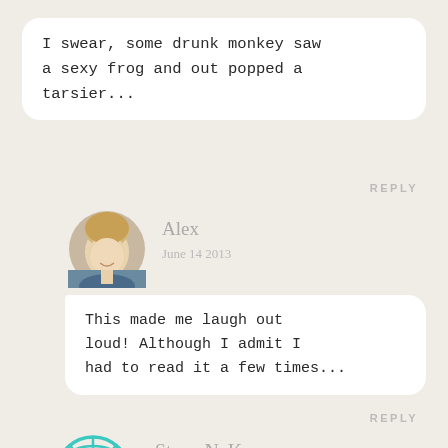I swear, some drunk monkey saw a sexy frog and out popped a tarsier...
REPLY
[Figure (photo): Circular avatar photo of a blonde woman smiling, named Alex]
Alex
June 14 2013
This made me laugh out loud! Although I admit I had to read it a few times...
REPLY
[Figure (illustration): Teal/turquoise globe icon in a circle]
Steve NcKee
June 13 2013